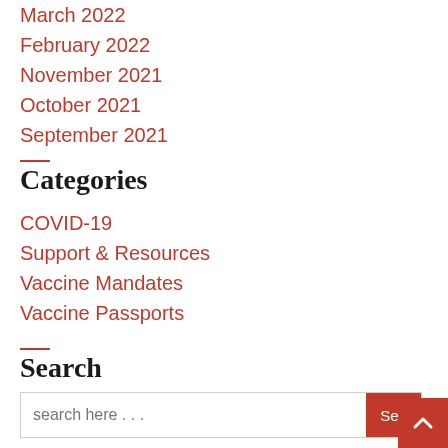March 2022
February 2022
November 2021
October 2021
September 2021
Categories
COVID-19
Support & Resources
Vaccine Mandates
Vaccine Passports
Search